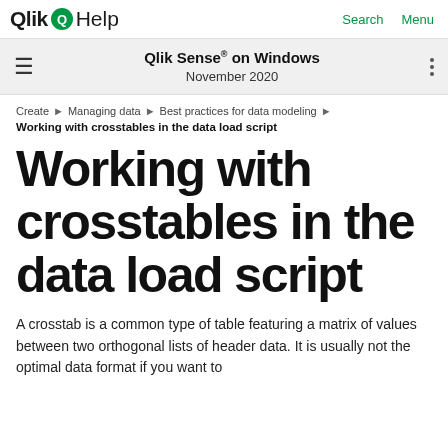Qlik Help  Search  Menu
Qlik Sense® on Windows
November 2020
Create ▶ Managing data ▶ Best practices for data modeling ▶
Working with crosstables in the data load script
Working with crosstables in the data load script
A crosstab is a common type of table featuring a matrix of values between two orthogonal lists of header data. It is usually not the optimal data format if you want to